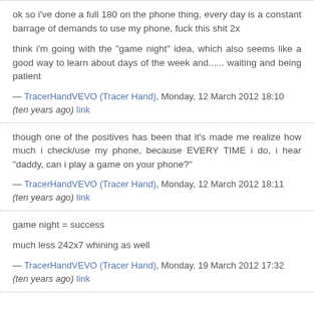ok so i've done a full 180 on the phone thing, every day is a constant barrage of demands to use my phone, fuck this shit 2x
think i'm going with the "game night" idea, which also seems like a good way to learn about days of the week and...... waiting and being patient
— TracerHandVEVO (Tracer Hand), Monday, 12 March 2012 18:10 (ten years ago) link
though one of the positives has been that it's made me realize how much i check/use my phone, because EVERY TIME i do, i hear "daddy, can i play a game on your phone?"
— TracerHandVEVO (Tracer Hand), Monday, 12 March 2012 18:11 (ten years ago) link
game night = success
much less 242x7 whining as well
— TracerHandVEVO (Tracer Hand), Monday, 19 March 2012 17:32 (ten years ago) link